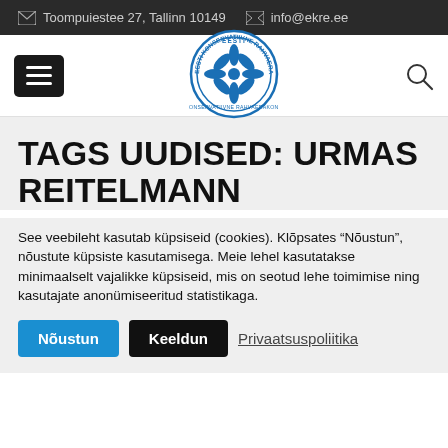Toompuiestee 27, Tallinn 10149   info@ekre.ee
[Figure (logo): EKRE - Eesti Konservatiivne Rahvaerakond circular logo with blue snowflake/cornflower emblem]
TAGS UUDISED: URMAS REITELMANN
See veebileht kasutab küpsiseid (cookies). Klõpsates "Nõustun", nõustute küpsiste kasutamisega. Meie lehel kasutatakse minimaalselt vajalikke küpsiseid, mis on seotud lehe toimimise ning kasutajate anonümiseeritud statistikaga.